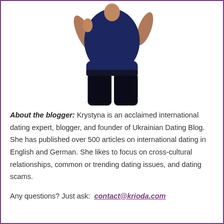[Figure (photo): Photo of a woman (torso and legs visible) wearing a navy blue top and dark pants, posed with hand on hip against a white background]
About the blogger: Krystyna is an acclaimed international dating expert, blogger, and founder of Ukrainian Dating Blog. She has published over 500 articles on international dating in English and German. She likes to focus on cross-cultural relationships, common or trending dating issues, and dating scams.
Any questions? Just ask: contact@krioda.com